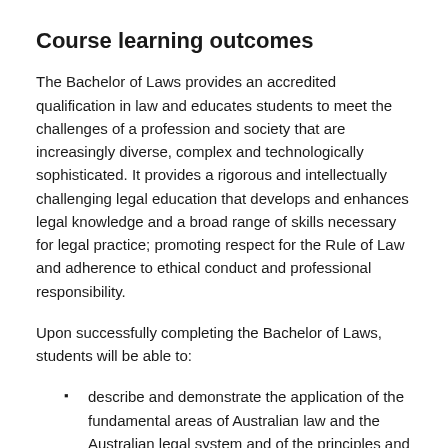Course learning outcomes
The Bachelor of Laws provides an accredited qualification in law and educates students to meet the challenges of a profession and society that are increasingly diverse, complex and technologically sophisticated. It provides a rigorous and intellectually challenging legal education that develops and enhances legal knowledge and a broad range of skills necessary for legal practice; promoting respect for the Rule of Law and adherence to ethical conduct and professional responsibility.
Upon successfully completing the Bachelor of Laws, students will be able to:
describe and demonstrate the application of the fundamental areas of Australian law and the Australian legal system and of the principles and